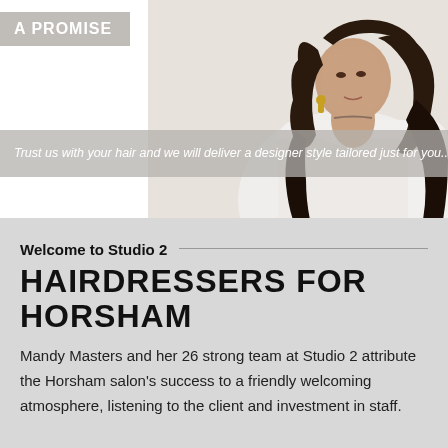A PROMISE
[Figure (photo): Woman with long dark wavy hair wearing a white off-shoulder outfit and gold earrings]
Trust us with your hair and we will deliver a designer style tailored just for you...
Welcome to Studio 2
HAIRDRESSERS FOR HORSHAM
Mandy Masters and her 26 strong team at Studio 2 attribute the Horsham salon's success to a friendly welcoming atmosphere, listening to the client and investment in staff.